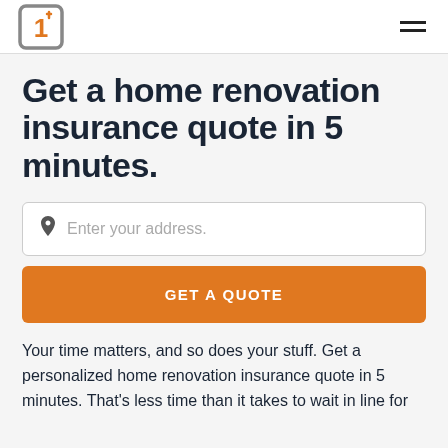[Figure (logo): Company logo: a stylized number 1 inside a rounded square, orange and grey colors, with hamburger menu icon on the right]
Get a home renovation insurance quote in 5 minutes.
Enter your address.
GET A QUOTE
Your time matters, and so does your stuff. Get a personalized home renovation insurance quote in 5 minutes. That's less time than it takes to wait in line for